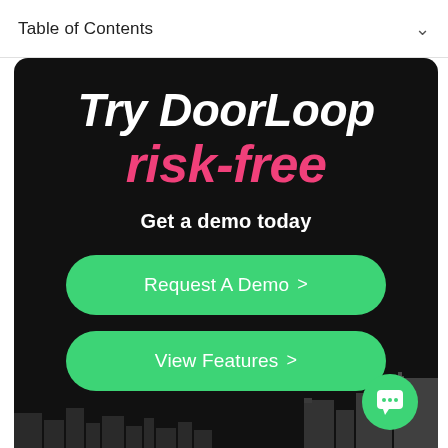Table of Contents
[Figure (screenshot): DoorLoop promotional banner on dark background with large white and pink italic text 'Try DoorLoop risk-free', subtext 'Get a demo today', two green rounded-rectangle CTA buttons ('Request A Demo >' and 'View Features >'), a dark city skyline silhouette at the bottom, and a green circular chat widget in the bottom right corner.]